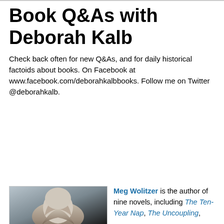Book Q&As with Deborah Kalb
Check back often for new Q&As, and for daily historical factoids about books. On Facebook at www.facebook.com/deborahkalbbooks. Follow me on Twitter @deborahkalb.
Tuesday, April 9, 2013
Q&A with novelist Meg Wolitzer
[Figure (photo): Photo of Meg Wolitzer, a woman with gray-brown hair]
Meg Wolitzer is the author of nine novels, including The Ten-Year Nap, The Uncoupling,